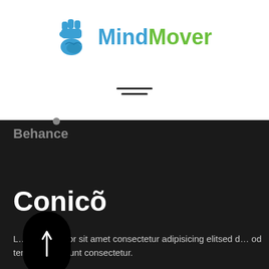[Figure (logo): MindMover logo with brain/fist icon in blue, text 'Mind' in blue and 'Mover' in green]
[Figure (other): Hamburger menu icon with two horizontal lines]
Behance
Conicõ
[Figure (other): Scroll down button — black rounded pill shape with upward arrow]
Lorem ipsum dolor sit amet consectetur adipisicing elitsed do od tempor incididunt consectetur.